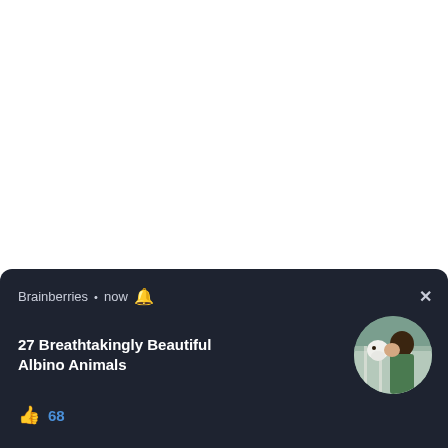Heidi Klum celebrated her 49th birthday with a big
We use cookies on our website to give you the most relevant experience by remembering your preferences and rep... use... Set...
[Figure (screenshot): Browser push notification popup from Brainberries showing '27 Breathtakingly Beautiful Albino Animals' with a thumbs up and count of 68, dark background, circular image of person with white animal]